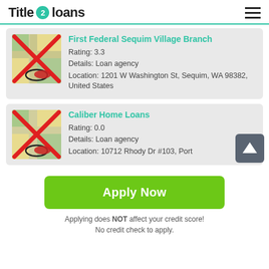Title 2 loans
First Federal Sequim Village Branch
Rating: 3.3
Details: Loan agency
Location: 1201 W Washington St, Sequim, WA 98382, United States
Caliber Home Loans
Rating: 0.0
Details: Loan agency
Location: 10712 Rhody Dr #103, Port
Apply Now
Applying does NOT affect your credit score!
No credit check to apply.